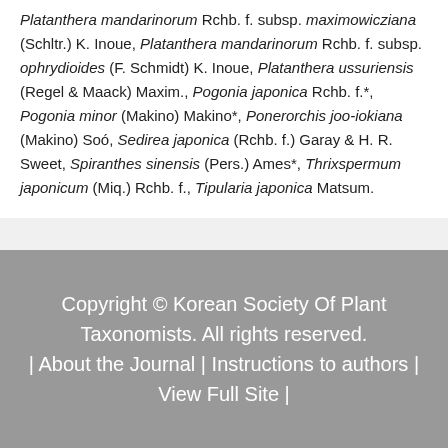Platanthera mandarinorum Rchb. f. subsp. maximowicziana (Schltr.) K. Inoue, Platanthera mandarinorum Rchb. f. subsp. ophrydioides (F. Schmidt) K. Inoue, Platanthera ussuriensis (Regel & Maack) Maxim., Pogonia japonica Rchb. f.*, Pogonia minor (Makino) Makino*, Ponerorchis joo-iokiana (Makino) Soó, Sedirea japonica (Rchb. f.) Garay & H. R. Sweet, Spiranthes sinensis (Pers.) Ames*, Thrixspermum japonicum (Miq.) Rchb. f., Tipularia japonica Matsum.
Copyright © Korean Society Of Plant Taxonomists. All rights reserved. | About the Journal | Instructions to authors | View Full Site |